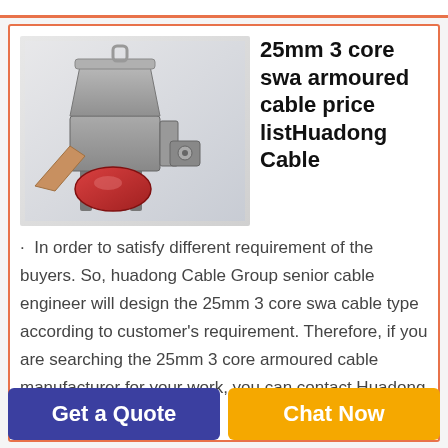[Figure (photo): 3D render of an industrial cable shredder/granulator machine, grey and red colored, on a light grey background]
25mm 3 core swa armoured cable price listHuadong Cable
· In order to satisfy different requirement of the buyers. So, huadong Cable Group senior cable engineer will design the 25mm 3 core swa cable type according to customer's requirement. Therefore, if you are searching the 25mm 3 core armoured cable manufacturer for your work, you can contact Huadong Cable any time.
Get a Quote
Chat Now